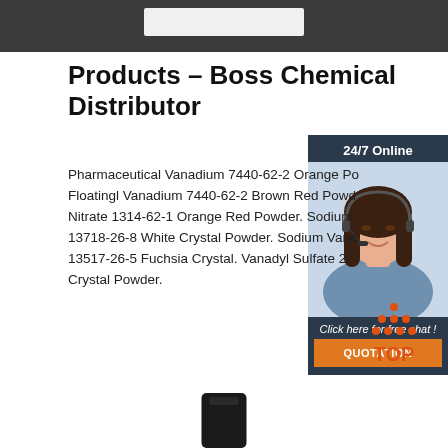[Figure (photo): Dark background image at top of page with a light colored rectangle in the center]
Products – Boss Chemical Distributor
[Figure (photo): Sidebar with 24/7 Online label, photo of a woman wearing a headset, and a quotation button]
Pharmaceutical Vanadium 7440-62-2 Orange Po... Floatingl Vanadium 7440-62-2 Brown Red Powder. Nitrate 1314-62-1 Orange Red Powder. Sodium 13718-26-8 White Crystal Powder. Sodium Vana 13517-26-5 Fuchsia Crystal. Vanadyl Sulfate 277 Crystal Powder.
[Figure (other): Get Price button - green rectangular button]
[Figure (logo): TOP logo with orange dots arranged in a triangle above the word TOP in orange]
[Figure (photo): Black cylindrical object (bottle cap or container) at the bottom center]